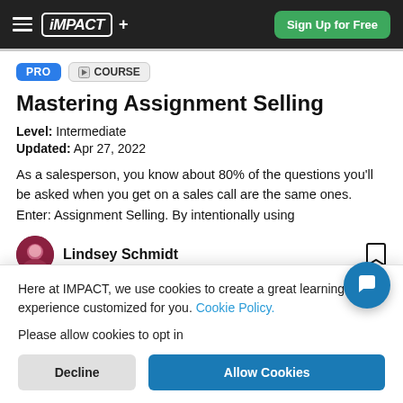iMPACT+ | Sign Up for Free
PRO | COURSE
Mastering Assignment Selling
Level: Intermediate
Updated: Apr 27, 2022
As a salesperson, you know about 80% of the questions you’ll be asked when you get on a sales call are the same ones. Enter: Assignment Selling. By intentionally using
Lindsey Schmidt
Here at IMPACT, we use cookies to create a great learning experience customized for you. Cookie Policy.
Please allow cookies to opt in
Decline
Allow Cookies